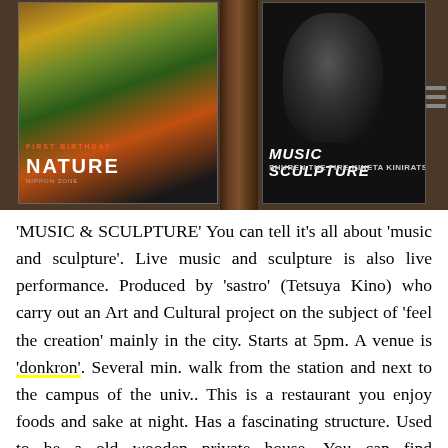[Figure (photo): Photo of two posters on a wooden wall. Left poster shows colorful art with text 'FIRST BIRTHDAY', 'NATURE', 'NIPPON ZONE'. Right poster shows black background with text 'MUSIC SCULPTURE', 'SHUREN THE FIRE KINETA KINIRATSUI' and a silhouette of a face.]
'MUSIC & SCULPTURE' You can tell it's all about 'music and sculpture'. Live music and sculpture is also live performance. Produced by 'sastro' (Tetsuya Kino) who carry out an Art and Cultural project on the subject of 'feel the creation' mainly in the city. Starts at 5pm. A venue is 'donkron'. Several min. walk from the station and next to the campus of the univ.. This is a restaurant you enjoy foods and sake at night. Has a fascinating structure. Used to be a old wooden private house. You can find surprisingly old buildings in alley even a centre of the big city like Tokyo. However, not here in